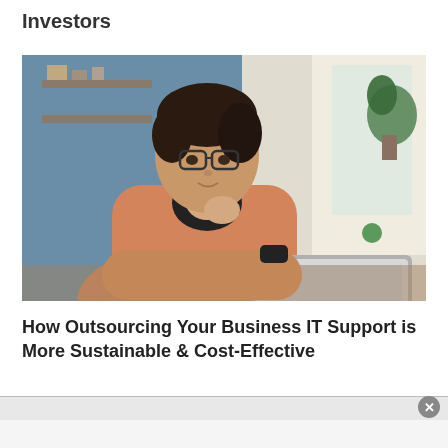Investors
[Figure (photo): Woman with glasses wearing an orange sweater, sitting at a desk working on a laptop, with a room background featuring blue walls, shelves, and a window with curtains and plants.]
How Outsourcing Your Business IT Support is More Sustainable & Cost-Effective
[Figure (other): Advertisement bar at the bottom of the page with a close (x) button in the upper right corner.]